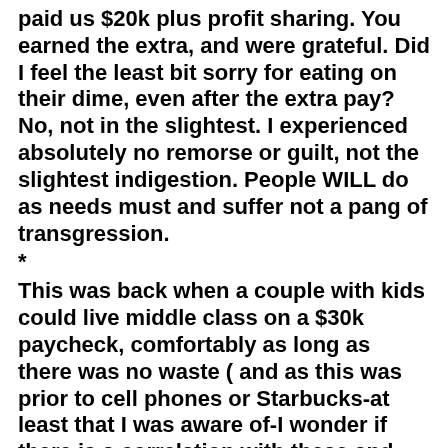paid us $20k plus profit sharing. You earned the extra, and were grateful. Did I feel the least bit sorry for eating on their dime, even after the extra pay? No, not in the slightest. I experienced absolutely no remorse or guilt, not the slightest indigestion. People WILL do as needs must and suffer not a pang of transgression.
*
This was back when a couple with kids could live middle class on a $30k paycheck, comfortably as long as there was no waste ( and as this was prior to cell phones or Starbucks-at least that I was aware of-I wonder if there is a correlation with these and the standards of living ) so I was making super wages. And I had ZERO to spend on prepping. This is where I expect most people are today, lots coming in, more going out, and no wiggle room for prepping. That is why, in Trumps most magical economy my frugal survival advice